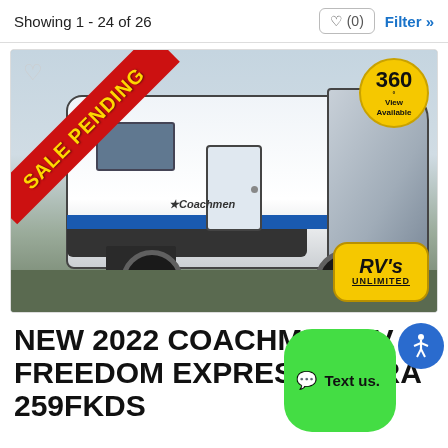Showing 1 - 24 of 26
[Figure (photo): Photo of a 2022 Coachmen RV Freedom Express travel trailer with 'SALE PENDING' banner in red/yellow, 360 View Available badge in yellow, RV's Unlimited dealer badge, and a heart/favorite icon.]
NEW 2022 COACHMEN RV FREEDOM EXPRESS ULTRA 259FKDS